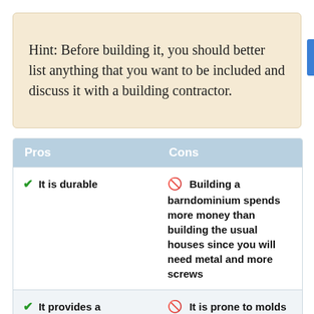Hint: Before building it, you should better list anything that you want to be included and discuss it with a building contractor.
| Pros | Cons |
| --- | --- |
| ✓ It is durable | ⊘ Building a barndominium spends more money than building the usual houses since you will need metal and more screws |
| ✓ It provides a distinctive look | ⊘ It is prone to molds because barns usually have poor insulation so that it holds back molds |